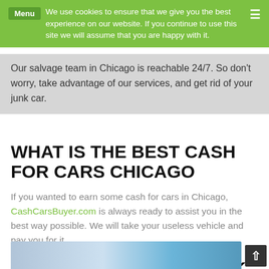Menu  We use cookies to ensure that we give you the best experience on our website. If you continue to use this site we will assume that you are happy with it.
Our salvage team in Chicago is reachable 24/7. So don't worry, take advantage of our services, and get rid of your junk car.
WHAT IS THE BEST CASH FOR CARS CHICAGO
If you wanted to earn some cash for cars in Chicago, CashCarsBuyer.com is always ready to assist you in the best way possible. We will take your useless vehicle and pay you for it.
HOW TO SELL YOUR JUNK CARS AND GET MONEY?
[Figure (photo): Bottom portion of a photo showing a car transaction scene]